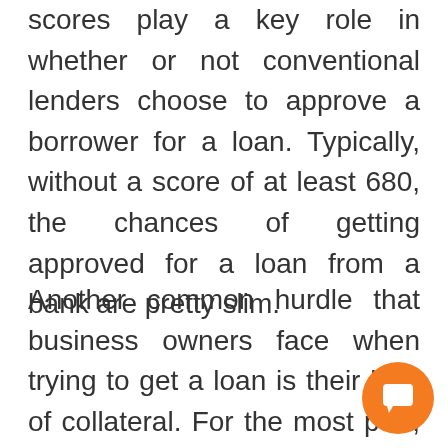scores play a key role in whether or not conventional lenders choose to approve a borrower for a loan. Typically, without a score of at least 680, the chances of getting approved for a loan from a bank are pretty slim.
Another common hurdle that business owners face when trying to get a loan is their lack of collateral. For the most part, conventional lenders choose to offer secured loans, which means a certain amount of
[Figure (other): Orange circular chat/messaging button in the bottom-right corner with a white speech bubble icon]